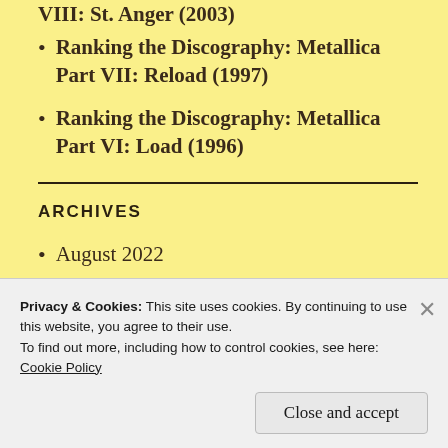Ranking the Discography: Metallica Part VII: Reload (1997)
Ranking the Discography: Metallica Part VI: Load (1996)
ARCHIVES
August 2022
Privacy & Cookies: This site uses cookies. By continuing to use this website, you agree to their use.
To find out more, including how to control cookies, see here: Cookie Policy
Close and accept